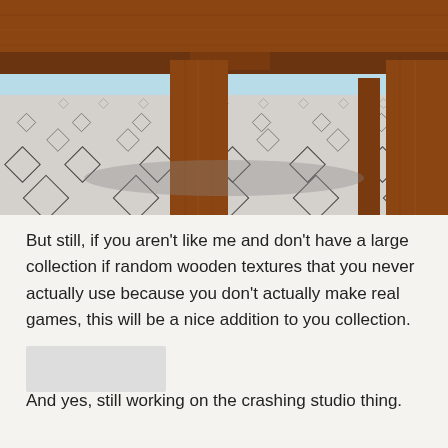[Figure (screenshot): 3D rendered scene showing the underside of a wooden table with brown wood-grain legs, viewed from a low angle. The floor is light gray/white with a repeating diamond/square pattern. The background shows a light blue sky and gray flat surface extending to the horizon.]
But still, if you aren't like me and don't have a large collection if random wooden textures that you never actually use because you don't actually make real games, this will be a nice addition to you collection.
[Figure (screenshot): Partially visible screenshot, truncated at bottom of page.]
And yes, still working on the crashing studio thing.